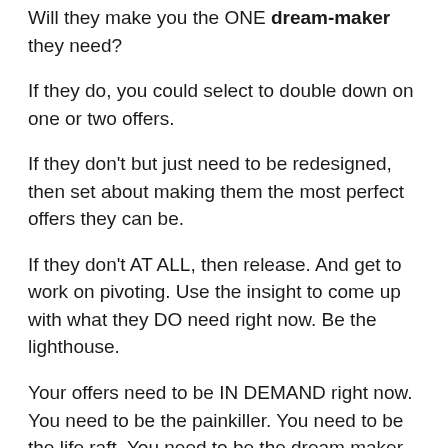Will they make you the ONE dream-maker they need?
If they do, you could select to double down on one or two offers.
If they don't but just need to be redesigned, then set about making them the most perfect offers they can be.
If they don't AT ALL, then release. And get to work on pivoting. Use the insight to come up with what they DO need right now. Be the lighthouse.
Your offers need to be IN DEMAND right now. You need to be the painkiller. You need to be the life raft. You need to be the dream maker.